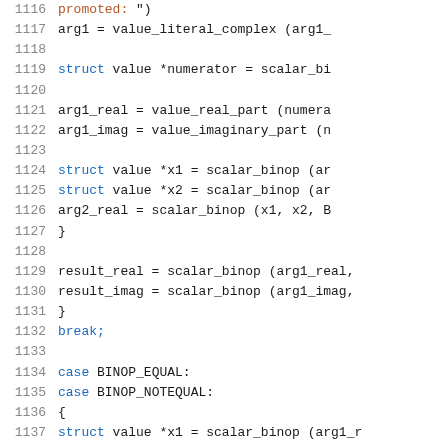[Figure (screenshot): Source code listing showing C code lines 1116-1137 with line numbers, syntax highlighting (blue keywords, orange string/special, black identifiers). Code involves complex number arithmetic with scalar_binop operations, struct value pointers, real and imaginary parts, and case statements for BINOP_EQUAL and BINOP_NOTEQUAL.]